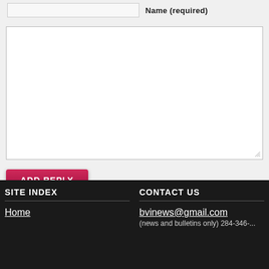Name (required)
[Figure (screenshot): Large blank text area input field for comment/reply entry]
[Figure (screenshot): ADD REPLY button, dark pink/red gradient rounded rectangle]
SITE INDEX
Home
CONTACT US
bvinews@gmail.com
(news and bulletins only) 284-346-...